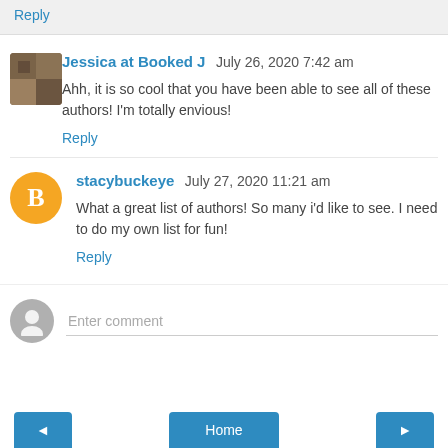Reply
Jessica at Booked J  July 26, 2020 7:42 am
Ahh, it is so cool that you have been able to see all of these authors! I'm totally envious!
Reply
stacybuckeye  July 27, 2020 11:21 am
What a great list of authors! So many i'd like to see. I need to do my own list for fun!
Reply
Enter comment